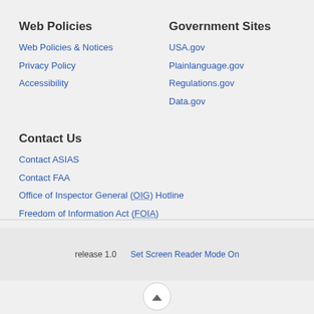Web Policies
Web Policies & Notices
Privacy Policy
Accessibility
Government Sites
USA.gov
Plainlanguage.gov
Regulations.gov
Data.gov
Contact Us
Contact ASIAS
Contact FAA
Office of Inspector General (OIG) Hotline
Freedom of Information Act (FOIA)
release 1.0   Set Screen Reader Mode On